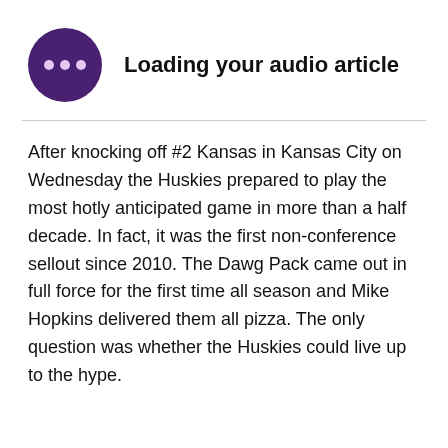[Figure (illustration): Purple circular icon with three dots (ellipsis/loading indicator) next to bold text 'Loading your audio article']
After knocking off #2 Kansas in Kansas City on Wednesday the Huskies prepared to play the most hotly anticipated game in more than a half decade. In fact, it was the first non-conference sellout since 2010. The Dawg Pack came out in full force for the first time all season and Mike Hopkins delivered them all pizza. The only question was whether the Huskies could live up to the hype.